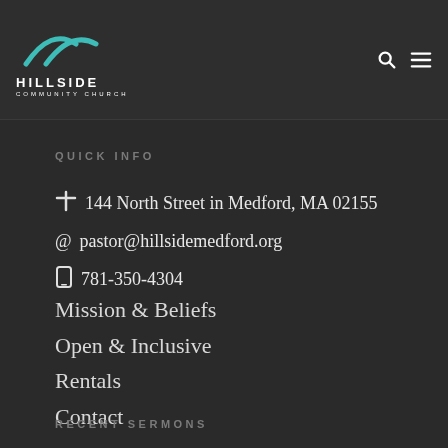HILLSIDE COMMUNITY CHURCH
QUICK INFO
144 North Street in Medford, MA 02155
pastor@hillsidemedford.org
781-350-4304
Mission & Beliefs
Open & Inclusive
Rentals
Contact
RECENT SERMONS